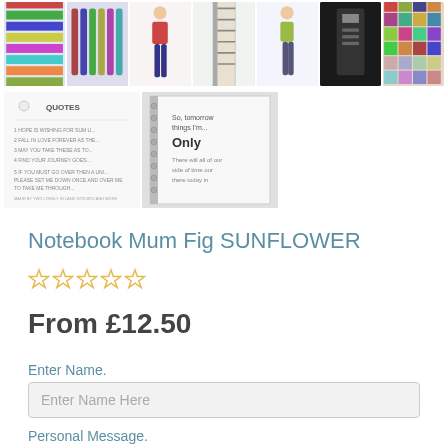[Figure (photo): Row of 7 product thumbnail images showing various notebook/stationery product photos]
[Figure (photo): Second row of 2 product thumbnail images - a page with quotes text and a spiral notebook]
Notebook Mum Fig SUNFLOWER
[Figure (other): 5 empty star rating icons (yellow outline)]
From £12.50
Enter Name.
Enter Name Here
Personal Message.